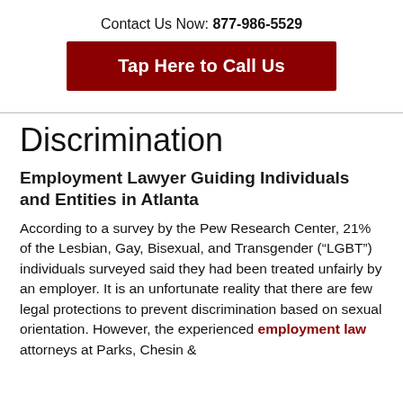Contact Us Now: 877-986-5529
Tap Here to Call Us
Discrimination
Employment Lawyer Guiding Individuals and Entities in Atlanta
According to a survey by the Pew Research Center, 21% of the Lesbian, Gay, Bisexual, and Transgender (“LGBT”) individuals surveyed said they had been treated unfairly by an employer. It is an unfortunate reality that there are few legal protections to prevent discrimination based on sexual orientation. However, the experienced employment law attorneys at Parks, Chesin &